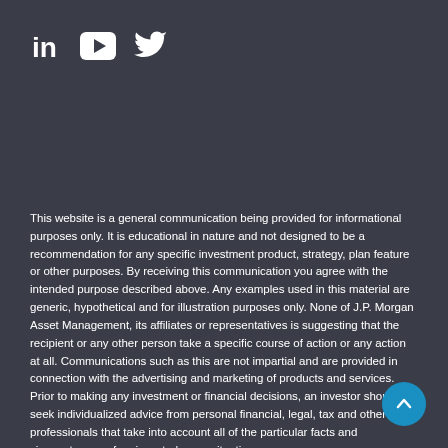[Figure (logo): Social media icons: LinkedIn (in), YouTube (play button), Twitter (bird icon)]
This website is a general communication being provided for informational purposes only. It is educational in nature and not designed to be a recommendation for any specific investment product, strategy, plan feature or other purposes. By receiving this communication you agree with the intended purpose described above. Any examples used in this material are generic, hypothetical and for illustration purposes only. None of J.P. Morgan Asset Management, its affiliates or representatives is suggesting that the recipient or any other person take a specific course of action or any action at all. Communications such as this are not impartial and are provided in connection with the advertising and marketing of products and services. Prior to making any investment or financial decisions, an investor should seek individualized advice from personal financial, legal, tax and other professionals that take into account all of the particular facts and circumstances of an investor's own situation.